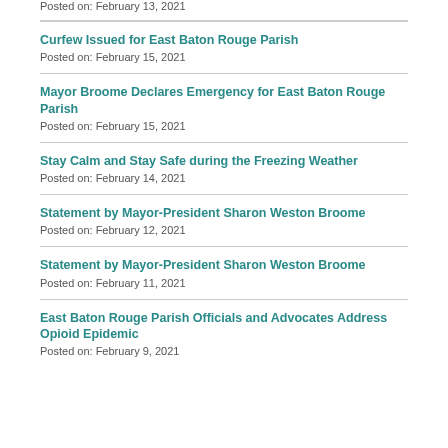Posted on: February 13, 2021
Curfew Issued for East Baton Rouge Parish
Posted on: February 15, 2021
Mayor Broome Declares Emergency for East Baton Rouge Parish
Posted on: February 15, 2021
Stay Calm and Stay Safe during the Freezing Weather
Posted on: February 14, 2021
Statement by Mayor-President Sharon Weston Broome
Posted on: February 12, 2021
Statement by Mayor-President Sharon Weston Broome
Posted on: February 11, 2021
East Baton Rouge Parish Officials and Advocates Address Opioid Epidemic
Posted on: February 9, 2021